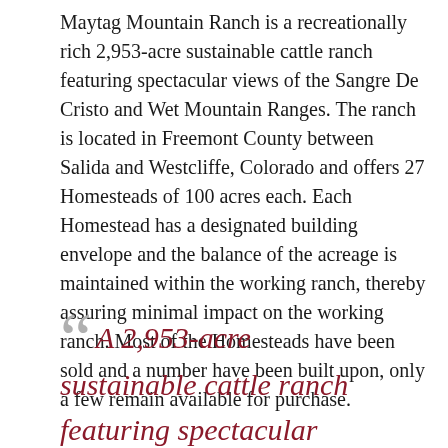Maytag Mountain Ranch is a recreationally rich 2,953-acre sustainable cattle ranch featuring spectacular views of the Sangre De Cristo and Wet Mountain Ranges. The ranch is located in Freemont County between Salida and Westcliffe, Colorado and offers 27 Homesteads of 100 acres each. Each Homestead has a designated building envelope and the balance of the acreage is maintained within the working ranch, thereby assuring minimal impact on the working ranch. Most of the Homesteads have been sold and a number have been built upon, only a few remain available for purchase.
A 2,953-acre sustainable cattle ranch featuring spectacular